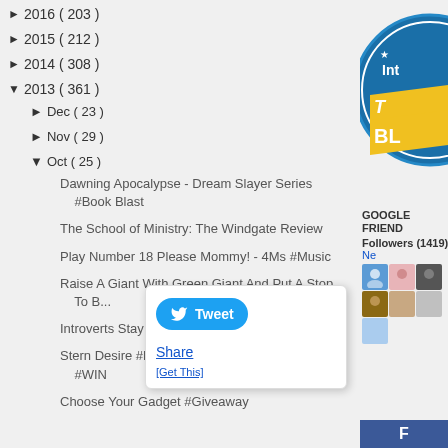► 2016 ( 203 )
► 2015 ( 212 )
► 2014 ( 308 )
▼ 2013 ( 361 )
► Dec ( 23 )
► Nov ( 29 )
▼ Oct ( 25 )
Dawning Apocalypse - Dream Slayer Series #Book Blast
The School of Ministry: The Windgate Review
Play Number 18 Please Mommy! - 4Ms #Music
Raise A Giant With Green Giant And Put A Stop To B...
Introverts Stay Where You Are!
Stern Desire #Book Tour + $25 Amazon GC #WIN
Choose Your Gadget #Giveaway
[Figure (logo): Blue circular badge with 'Int' and 'BL' text in yellow banner]
GOOGLE FRIEND
Followers (1419) Ne
[Figure (screenshot): Twitter Tweet button popup with Share link and [Get This] link]
[Figure (other): Facebook strip with F icon]